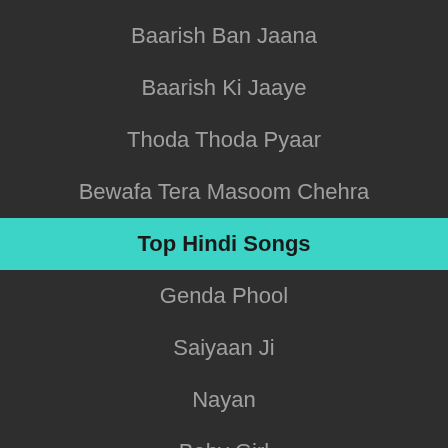Baarish Ban Jaana
Baarish Ki Jaaye
Thoda Thoda Pyaar
Bewafa Tera Masoom Chehra
Top Hindi Songs
Genda Phool
Saiyaan Ji
Nayan
Baby Girl
Dilbar